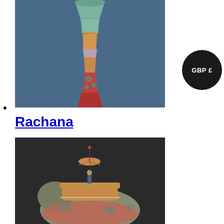[Figure (photo): Close-up photo of a colorful decorated tower or minaret-like sculpture with textured surfaces in teal, orange, pink and red colors against a blue background]
•
Rachana
[Figure (photo): Photo of a decorative elephant sculpture with an ornate howdah (seat) on its back, featuring a small figure holding a parasol/umbrella on top, against a dark background]